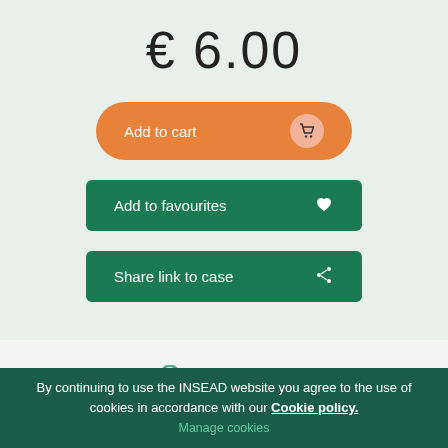€ 6.00
[Figure (screenshot): Add to cart button (orange, pill-shaped) with shopping cart icon]
[Figure (screenshot): Add to favourites button (dark green, rounded rectangle) with heart icon]
[Figure (screenshot): Share link to case button (dark green, rounded rectangle) with share icon]
Summary
The case decribes Johnnie Walker's efforts to move from a multi-local product-focused brand to a global master brand, underlining that the switch is a strategic business decision. It begins by understanding and addressing a global customer need, then managing the standardization of marketing activities across markets, with significant internal changes required to existing
By continuing to use the INSEAD website you agree to the use of cookies in accordance with our Cookie policy.